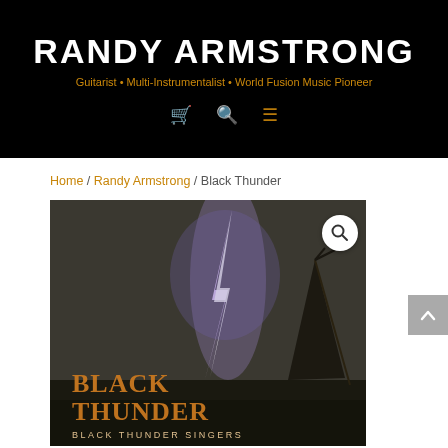RANDY ARMSTRONG
Guitarist • Multi-Instrumentalist • World Fusion Music Pioneer
Home / Randy Armstrong / Black Thunder
[Figure (photo): Album cover for 'Black Thunder' by Black Thunder Singers. Dark background with lightning bolt striking near a teepee silhouette. Text reads: BLACK THUNDER / BLACK THUNDER SINGERS in orange/gold stylized font.]